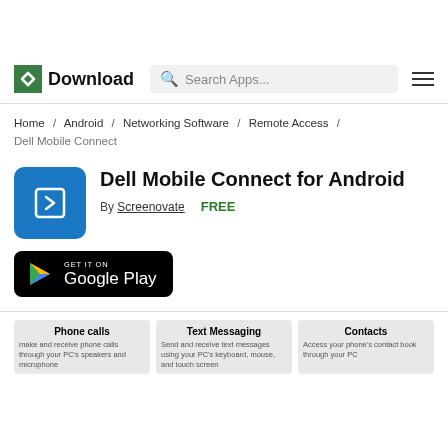Download — Search Apps...
Home / Android / Networking Software / Remote Access / Dell Mobile Connect
Dell Mobile Connect for Android
By Screenovate   FREE
[Figure (logo): Get it on Google Play button]
Phone calls
Text Messaging
Contacts